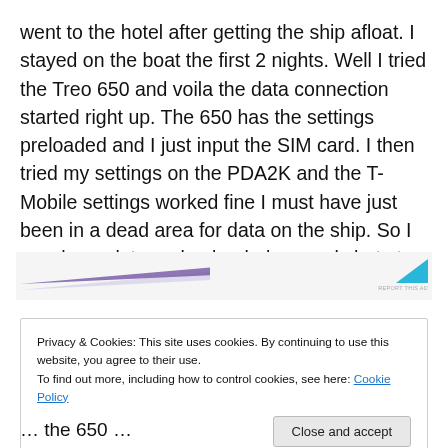went to the hotel after getting the ship afloat. I stayed on the boat the first 2 nights. Well I tried the Treo 650 and voila the data connection started right up. The 650 has the settings preloaded and I just input the SIM card. I then tried my settings on the PDA2K and the T-Mobile settings worked fine I must have just been in a dead area for data on the ship. So I now have data and uploaded several shots to my photo blog.
[Figure (other): Advertisement banner with purple triangle logo on left and cyan/blue shape on right with 'REPORT THIS AD' text]
Privacy & Cookies: This site uses cookies. By continuing to use this website, you agree to their use.
To find out more, including how to control cookies, see here: Cookie Policy
[Close and accept button]
...the 650...